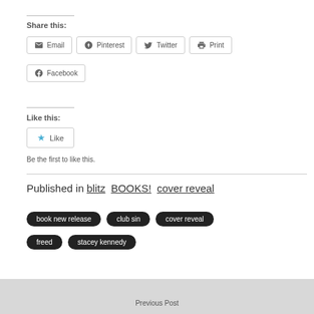Share this:
Email | Pinterest | Twitter | Print
Facebook
Like this:
Like
Be the first to like this.
Published in  blitz  BOOKS!  cover reveal
book new release
club sin
cover reveal
freed
stacey kennedy
Previous Post